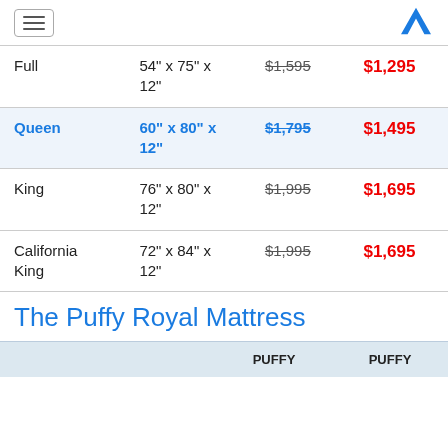Navigation menu and logo
| Size | Dimensions | Original Price | Sale Price |
| --- | --- | --- | --- |
| Full | 54" x 75" x 12" | $1,595 | $1,295 |
| Queen | 60" x 80" x 12" | $1,795 | $1,495 |
| King | 76" x 80" x 12" | $1,995 | $1,695 |
| California King | 72" x 84" x 12" | $1,995 | $1,695 |
The Puffy Royal Mattress
|  | PUFFY | PUFFY |
| --- | --- | --- |